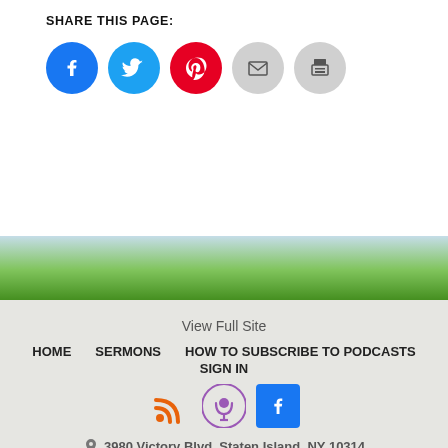SHARE THIS PAGE:
[Figure (infographic): Five social share icon circles: Facebook (blue), Twitter (cyan), Pinterest (red), Email (grey), Print (grey)]
[Figure (photo): Blurred nature background with green plants and blue sky]
View Full Site
HOME
SERMONS
HOW TO SUBSCRIBE TO PODCASTS
SIGN IN
[Figure (infographic): Three social/feed icons: RSS feed (orange), Podcast (purple circle), Facebook (blue square)]
3980 Victory Blvd. Staten Island, NY 10314
718-761-6158
Copyright © 2022 Staten Island Christian Church.